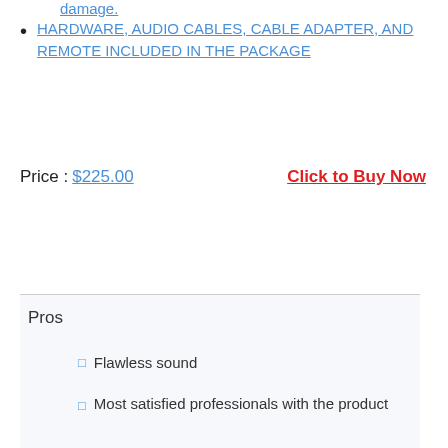damage.
HARDWARE, AUDIO CABLES, CABLE ADAPTER, AND REMOTE INCLUDED IN THE PACKAGE
Price : $225.00   Click to Buy Now
Pros
Flawless sound
Most satisfied professionals with the product